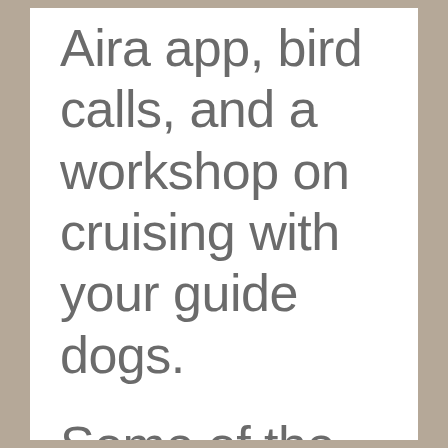Aira app, bird calls, and a workshop on cruising with your guide dogs. Some of the tours were a food tour, where a guide walked with you